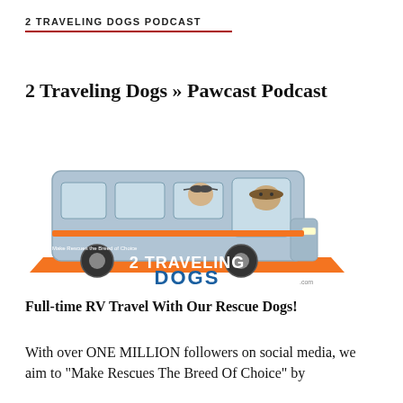2 TRAVELING DOGS PODCAST
2 Traveling Dogs » Pawcast Podcast
[Figure (logo): Illustrated logo of an RV/motorhome with two cartoon dogs, one driving wearing a hat, one in the passenger window with sunglasses. Below the RV is an orange platform with text '2 TRAVELING DOGS' in large letters and 'Make Rescues The Breed Of Choice .com' in smaller text.]
Full-time RV Travel With Our Rescue Dogs!
With over ONE MILLION followers on social media, we aim to "Make Rescues The Breed Of Choice" by